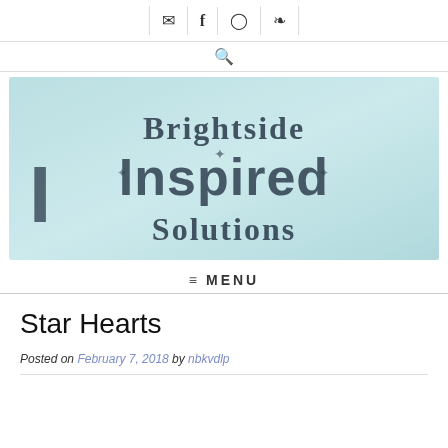Email | Facebook | Instagram | Pinterest | Search
[Figure (logo): Brightside Inspired Solutions logo on light teal textured background with decorative lettering]
MENU
Star Hearts
Posted on February 7, 2018 by nbkvdlp